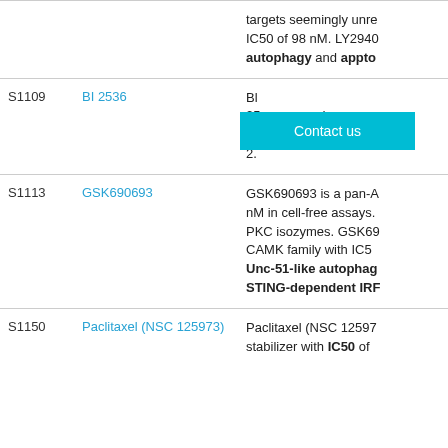| ID | Name | Description |
| --- | --- | --- |
|  |  | targets seemingly unrelated IC50 of 98 nM. LY2940 autophagy and apoptosis |
| S1109 | BI 2536 | BI ... c-Myc expression. BI-1 2. |
| S1113 | GSK690693 | GSK690693 is a pan-A nM in cell-free assays PKC isozymes. GSK690 CAMK family with IC50 Unc-51-like autophagy STING-dependent IRF3 |
| S1150 | Paclitaxel (NSC 125973) | Paclitaxel (NSC 125973 stabilizer with IC50 of |
Contact us